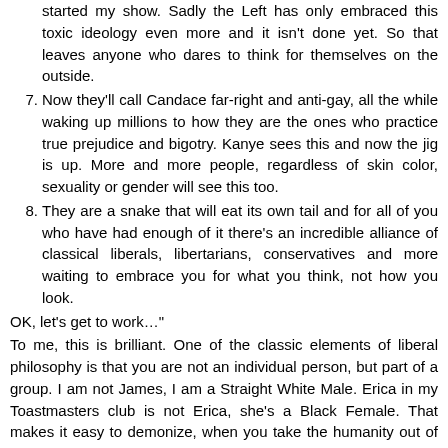started my show. Sadly the Left has only embraced this toxic ideology even more and it isn't done yet. So that leaves anyone who dares to think for themselves on the outside.
7. Now they'll call Candace far-right and anti-gay, all the while waking up millions to how they are the ones who practice true prejudice and bigotry. Kanye sees this and now the jig is up. More and more people, regardless of skin color, sexuality or gender will see this too.
8. They are a snake that will eat its own tail and for all of you who have had enough of it there's an incredible alliance of classical liberals, libertarians, conservatives and more waiting to embrace you for what you think, not how you look.
OK, let's get to work…"
To me, this is brilliant. One of the classic elements of liberal philosophy is that you are not an individual person, but part of a group. I am not James, I am a Straight White Male. Erica in my Toastmasters club is not Erica, she's a Black Female. That makes it easy to demonize, when you take the humanity out of it. Then you can lump me in with the White Male group, which currently is viewed in liberal circles as the chief problem in